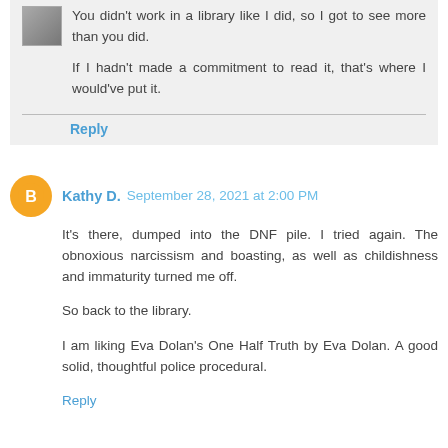You didn't work in a library like I did, so I got to see more than you did.
If I hadn't made a commitment to read it, that's where I would've put it.
Reply
Kathy D.  September 28, 2021 at 2:00 PM
It's there, dumped into the DNF pile. I tried again. The obnoxious narcissism and boasting, as well as childishness and immaturity turned me off.
So back to the library.
I am liking Eva Dolan's One Half Truth by Eva Dolan. A good solid, thoughtful police procedural.
Reply